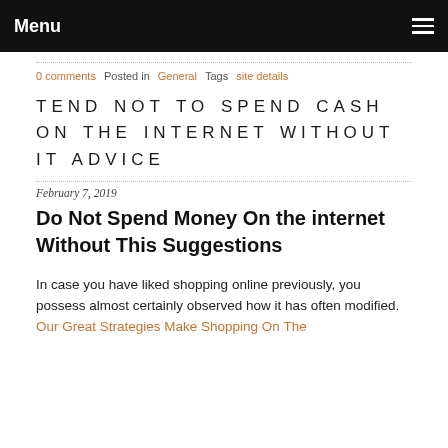Menu
0 comments   Posted in General   Tags site details
TEND NOT TO SPEND CASH ON THE INTERNET WITHOUT IT ADVICE
February 7, 2019
Do Not Spend Money On the internet Without This Suggestions
In case you have liked shopping online previously, you possess almost certainly observed how it has often modified. Our Great Strategies Make Shopping On The Internet Simple...